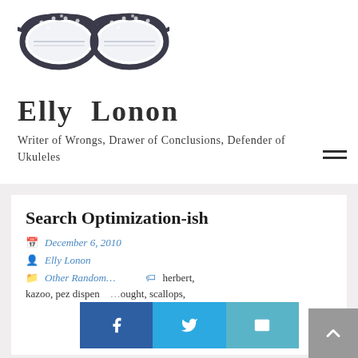[Figure (illustration): Illustration of retro cat-eye glasses with polka dot pattern, dark frames]
Elly Lonon
Writer of Wrongs, Drawer of Conclusions, Defender of Ukuleles
Search Optimization-ish
December 6, 2010
Elly Lonon
Other Random…
herbert, kazoo, pez dispen…ought, scallops,